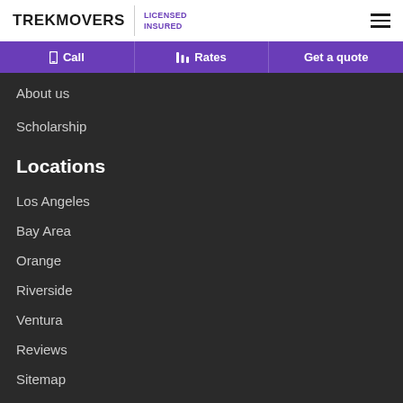TREKMOVERS | LICENSED INSURED
Call
Rates
Get a quote
About us
Scholarship
Locations
Los Angeles
Bay Area
Orange
Riverside
Ventura
Reviews
Sitemap